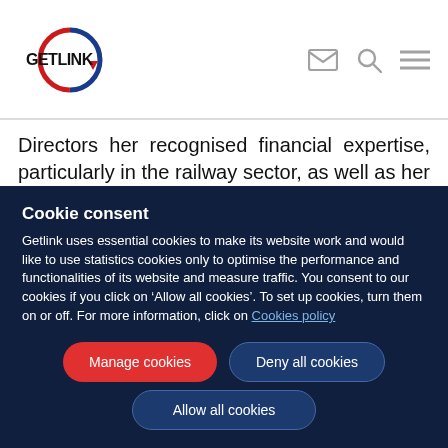[Figure (logo): Getlink logo with blue and red circular arrow and bold GETLINK text]
Directors her recognised financial expertise, particularly in the railway sector, as well as her Franco-British culture and her skills and experience as an independent director of international companies.
Cookie consent
Getlink uses essential cookies to make its website work and would like to use statistics cookies only to optimise the performance and functionalities of its website and measure traffic. You consent to our cookies if you click on ‘Allow all cookies’. To set up cookies, turn them on or off. For more information, click on Cookies policy
Manage cookies
Deny all cookies
Allow all cookies